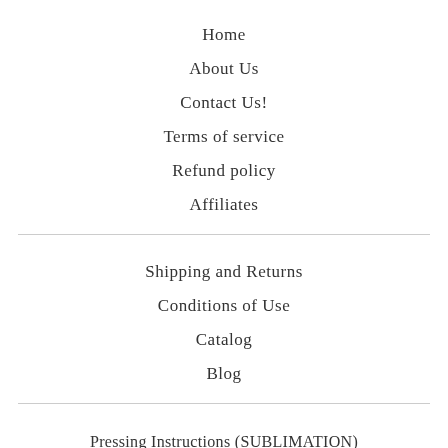Home
About Us
Contact Us!
Terms of service
Refund policy
Affiliates
Shipping and Returns
Conditions of Use
Catalog
Blog
Pressing Instructions (SUBLIMATION)